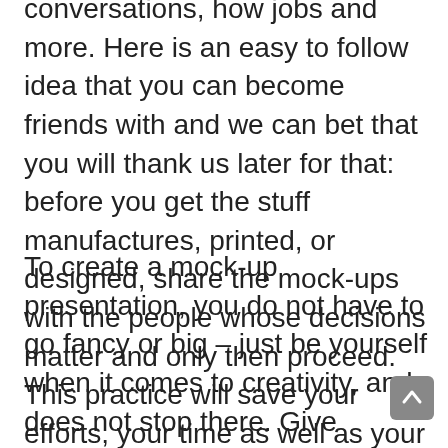conversations, new jobs and more. Here is an easy to follow idea that you can become friends with and we can bet that you will thank us later for that: before you get the stuff manufactures, printed, or designed, share the mock-ups with the people whose decisions matter and only then proceed. This practice will save your efforts, your time as well as your money.
To create a mock-up presentation, you do not have to go fancy or big – just be yourself when it comes to creativity, and does not stop there. Give yourself a goal that is humanly possible to achieve and create designs. Then pick the best ones and put them into your presentation. The same goes for your Instagram / Facebook shop as well as for your website. All you have to do is to share the mock-up designs, gather the